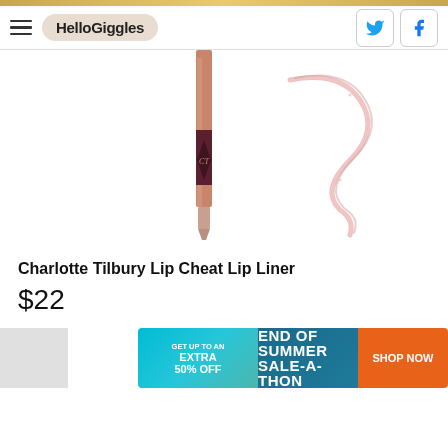HelloGiggles
[Figure (photo): Charlotte Tilbury Lip Cheat Lip Liner product photo showing a rose gold pencil liner with a pink swatch stroke on white background]
Charlotte Tilbury Lip Cheat Lip Liner
$22
[Figure (infographic): Advertisement banner: GET UP TO AN EXTRA 50% OFF | END OF SUMMER SALE-A-THON | SHOP NOW]